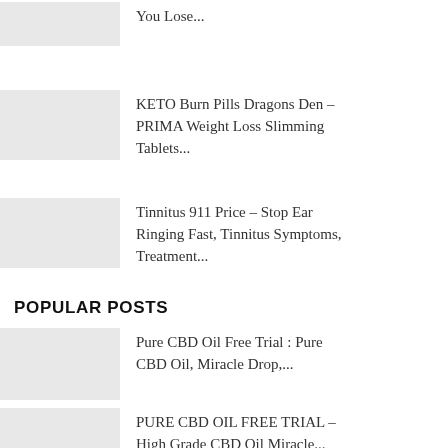You Lose...
KETO Burn Pills Dragons Den – PRIMA Weight Loss Slimming Tablets...
Tinnitus 911 Price – Stop Ear Ringing Fast, Tinnitus Symptoms, Treatment...
POPULAR POSTS
Pure CBD Oil Free Trial : Pure CBD Oil, Miracle Drop,...
PURE CBD OIL FREE TRIAL – High Grade CBD Oil Miracle...